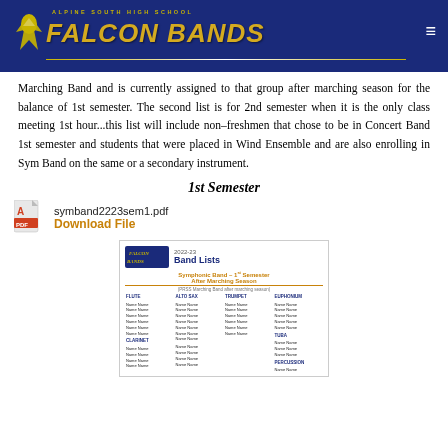Alpine South High School Falcon Bands
Marching Band and is currently assigned to that group after marching season for the balance of 1st semester. The second list is for 2nd semester when it is the only class meeting 1st hour...this list will include non-freshmen that chose to be in Concert Band 1st semester and students that were placed in Wind Ensemble and are also enrolling in Sym Band on the same or a secondary instrument.
1st Semester
symband2223sem1.pdf
Download File
[Figure (screenshot): Preview thumbnail of a PDF document titled '2022-23 Band Lists' showing Symphonic Band 1st Semester After Marching Season roster with multiple columns of student names organized by instrument.]